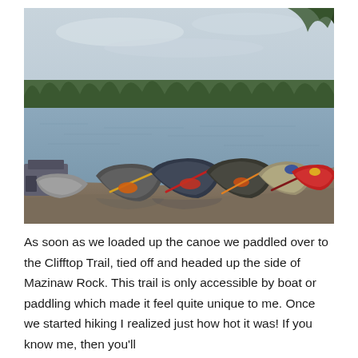[Figure (photo): Photograph of several canoes and kayaks pulled up on a rocky/gravel shoreline next to a wooden dock, with a calm lake and dense green forest treeline in the background under an overcast grey sky. Various paddles and life jackets are visible inside the boats.]
As soon as we loaded up the canoe we paddled over to the Clifftop Trail, tied off and headed up the side of Mazinaw Rock. This trail is only accessible by boat or paddling which made it feel quite unique to me. Once we started hiking I realized just how hot it was! If you know me, then you'll